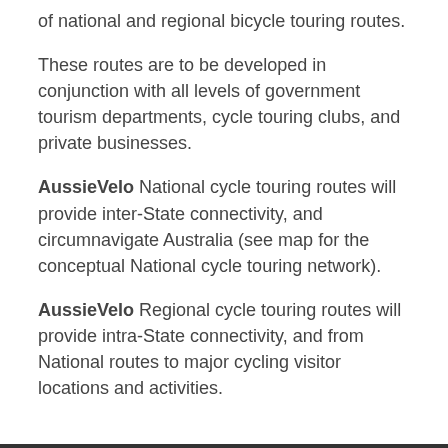of national and regional bicycle touring routes.
These routes are to be developed in conjunction with all levels of government tourism departments, cycle touring clubs, and private businesses.
AussieVelo National cycle touring routes will provide inter-State connectivity, and circumnavigate Australia (see map for the conceptual National cycle touring network).
AussieVelo Regional cycle touring routes will provide intra-State connectivity, and from National routes to major cycling visitor locations and activities.